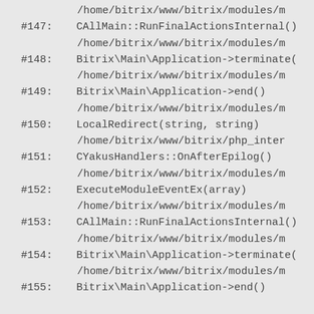/home/bitrix/www/bitrix/modules/m
#147: CAllMain::RunFinalActionsInternal()
        /home/bitrix/www/bitrix/modules/m
#148: Bitrix\Main\Application->terminate(
        /home/bitrix/www/bitrix/modules/m
#149: Bitrix\Main\Application->end()
        /home/bitrix/www/bitrix/modules/m
#150: LocalRedirect(string, string)
        /home/bitrix/www/bitrix/php_inter
#151: CYakusHandlers::OnAfterEpilog()
        /home/bitrix/www/bitrix/modules/m
#152: ExecuteModuleEventEx(array)
        /home/bitrix/www/bitrix/modules/m
#153: CAllMain::RunFinalActionsInternal()
        /home/bitrix/www/bitrix/modules/m
#154: Bitrix\Main\Application->terminate(
        /home/bitrix/www/bitrix/modules/m
#155: Bitrix\Main\Application->end()